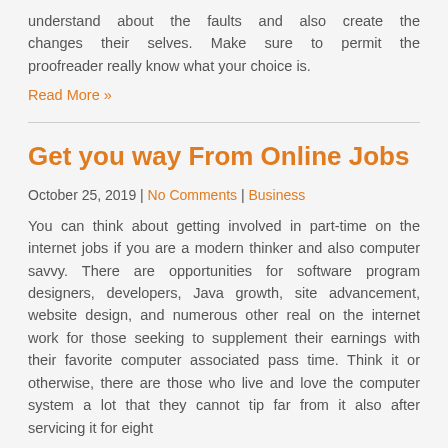understand about the faults and also create the changes their selves. Make sure to permit the proofreader really know what your choice is.
Read More »
Get you way From Online Jobs
October 25, 2019 | No Comments | Business
You can think about getting involved in part-time on the internet jobs if you are a modern thinker and also computer savvy. There are opportunities for software program designers, developers, Java growth, site advancement, website design, and numerous other real on the internet work for those seeking to supplement their earnings with their favorite computer associated pass time. Think it or otherwise, there are those who live and love the computer system a lot that they cannot tip far from it also after servicing it for eight